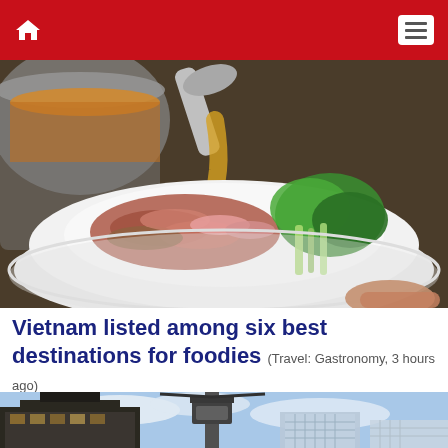Navigation bar with home icon and menu icon
[Figure (photo): Close-up photo of Vietnamese pho soup being prepared: broth being ladled into a white bowl containing sliced meats, green herbs and vegetables, with a cooking pot in the background]
Vietnam listed among six best destinations for foodies (Travel: Gastronomy, 3 hours ago)
[Figure (photo): Urban cityscape photo showing tall buildings against a partly cloudy blue sky, with a tower/crane structure visible in the center]